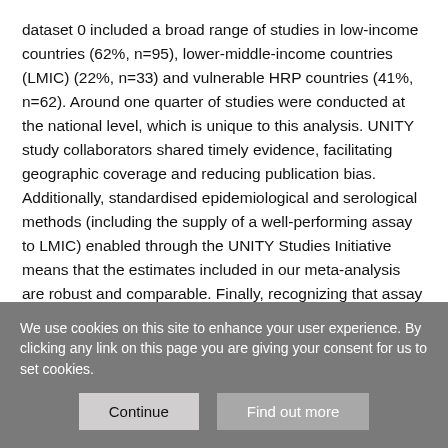dataset 0 included a broad range of studies in low-income countries (62%, n=95), lower-middle-income countries (LMIC) (22%, n=33) and vulnerable HRP countries (41%, n=62). Around one quarter of studies were conducted at the national level, which is unique to this analysis. UNITY study collaborators shared timely evidence, facilitating geographic coverage and reducing publication bias. Additionally, standardised epidemiological and serological methods (including the supply of a well-performing assay to LMIC) enabled through the UNITY Studies Initiative means that the estimates included in our meta-analysis are robust and comparable. Finally, recognizing that assay performance is a key determinant of seroprevalence, we linked
We use cookies on this site to enhance your user experience. By clicking any link on this page you are giving your consent for us to set cookies.